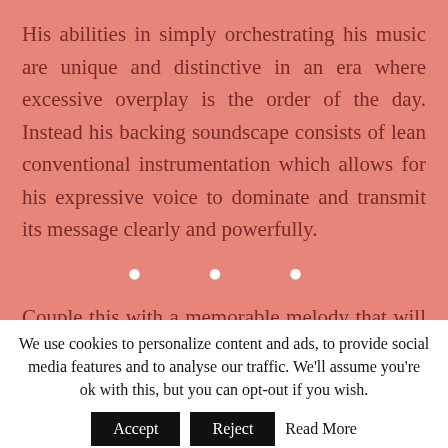His abilities in simply orchestrating his music are unique and distinctive in an era where excessive overplay is the order of the day. Instead his backing soundscape consists of lean conventional instrumentation which allows for his expressive voice to dominate and transmit its message clearly and powerfully.
Couple this with a memorable melody that will never leave you, and sublime lyrical sheet that seems better
We use cookies to personalize content and ads, to provide social media features and to analyse our traffic. We'll assume you're ok with this, but you can opt-out if you wish. Accept Reject Read More